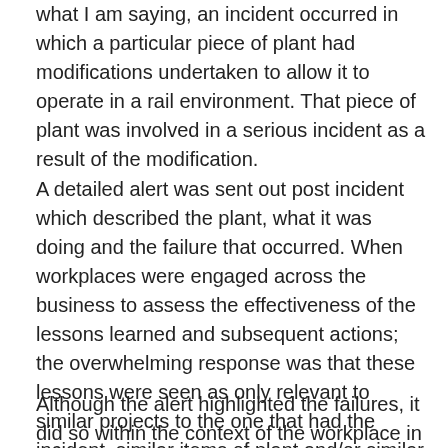what I am saying, an incident occurred in which a particular piece of plant had modifications undertaken to allow it to operate in a rail environment. That piece of plant was involved in a serious incident as a result of the modification.
A detailed alert was sent out post incident which described the plant, what it was doing and the failure that occurred. When workplaces were engaged across the business to assess the effectiveness of the lessons learned and subsequent actions; the overwhelming response was that these lessons were seen as only relevant to similar projects to the one that had the incident, similar items of plant and/or similar operational scenarios.
Although the alert highlighted the failures, it did so within the context of the workplace in which the